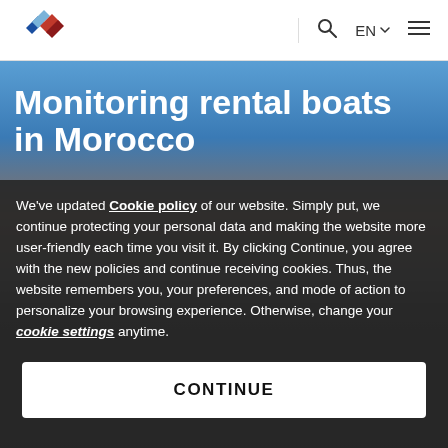EN  ☰
Monitoring rental boats in Morocco
We've updated Cookie policy of our website. Simply put, we continue protecting your personal data and making the website more user-friendly each time you visit it. By clicking Continue, you agree with the new policies and continue receiving cookies. Thus, the website remembers you, your preferences, and mode of action to personalize your browsing experience. Otherwise, change your cookie settings anytime.
CONTINUE